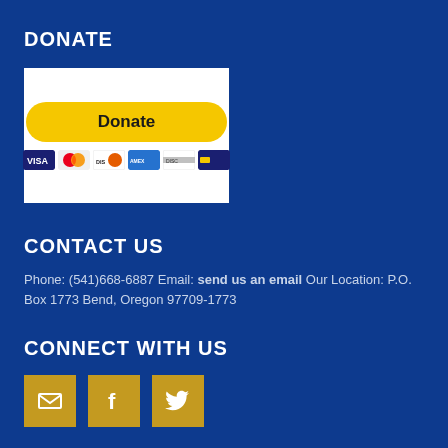DONATE
[Figure (other): PayPal Donate button with payment card icons (VISA, Mastercard, Discover, American Express) on white background]
CONTACT US
Phone: (541)668-6887 Email: send us an email Our Location: P.O. Box 1773 Bend, Oregon 97709-1773
CONNECT WITH US
[Figure (other): Three gold/yellow square social media icon buttons: email/envelope, Facebook, Twitter]